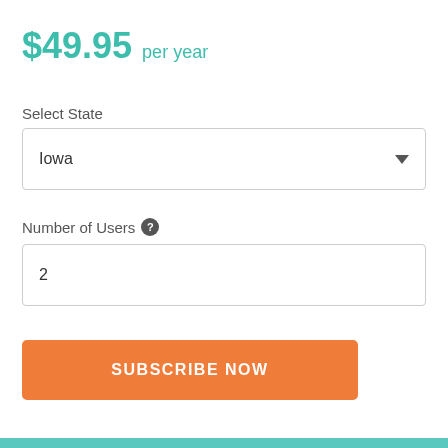$49.95 per year
Select State
Iowa
Number of Users
2
SUBSCRIBE NOW